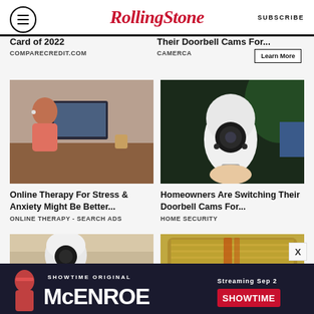RollingStone  SUBSCRIBE
Card of 2022
COMPARECREDIT.COM
Their Doorbell Cams For...
CAMERCA  Learn More
[Figure (photo): Person with earbuds working on laptop at desk]
Online Therapy For Stress & Anxiety Might Be Better...
ONLINE THERAPY - SEARCH ADS
[Figure (photo): Hand holding a white lightbulb-shaped security camera]
Homeowners Are Switching Their Doorbell Cams For...
HOME SECURITY
[Figure (photo): Hand holding a white lightbulb security camera indoors]
[Figure (photo): Roll of US dollar bills bundled together]
[Figure (other): Showtime McEnroe streaming banner ad - Streaming Sep 2]